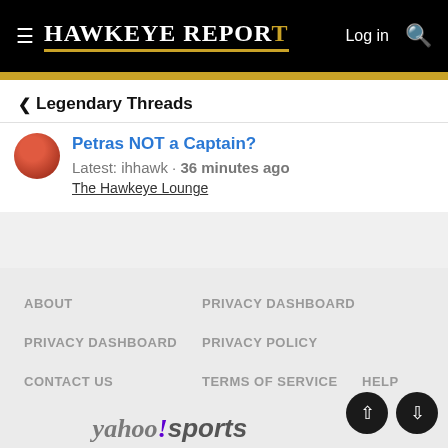HAWKEYE REPORT — Log in
< Legendary Threads
Petras NOT a Captain?
Latest: ihhawk · 36 minutes ago
The Hawkeye Lounge
ABOUT   PRIVACY DASHBOARD   PRIVACY DASHBOARD   PRIVACY POLICY   CONTACT US   TERMS OF SERVICE   HELP
[Figure (logo): yahoo!sports logo at bottom of page]